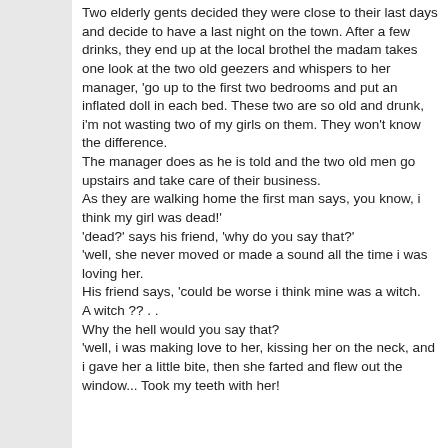Two elderly gents decided they were close to their last days and decide to have a last night on the town. After a few drinks, they end up at the local brothel the madam takes one look at the two old geezers and whispers to her manager, 'go up to the first two bedrooms and put an inflated doll in each bed. These two are so old and drunk, i'm not wasting two of my girls on them. They won't know the difference. The manager does as he is told and the two old men go upstairs and take care of their business. As they are walking home the first man says, you know, i think my girl was dead!' 'dead?' says his friend, 'why do you say that?' 'well, she never moved or made a sound all the time i was loving her. His friend says, 'could be worse i think mine was a witch. A witch ?? . . Why the hell would you say that? 'well, i was making love to her, kissing her on the neck, and i gave her a little bite, then she farted and flew out the window... Took my teeth with her!